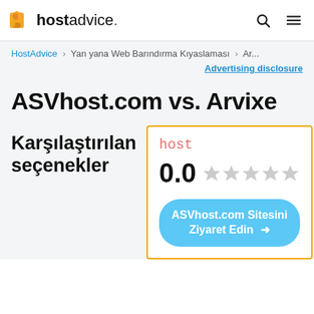hostadvice.
HostAdvice > Yan yana Web Barındırma Kıyaslaması > Ar...
Advertising disclosure
ASVhost.com vs. Arvixe
Karşılaştırılan seçenekler
host
0.0
ASVhost.com Sitesini Ziyaret Edin